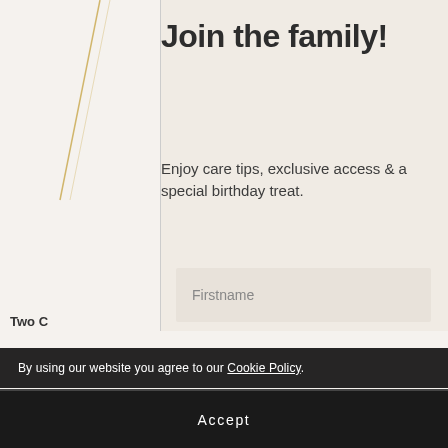[Figure (illustration): Left panel showing partial product image with decorative gold diagonal line on a beige background]
Two C
$250.00
Join the family!
Enjoy care tips, exclusive access & a special birthday treat.
Firstname
Email Address
Date of Birth (DD/MM/YYYY)
By using our website you agree to our Cookie Policy.
Accept